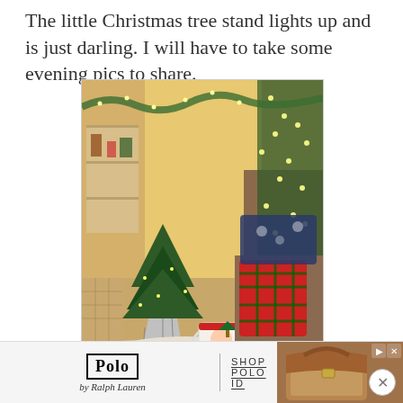The little Christmas tree stand lights up and is just darling. I will have to take some evening pics to share.
[Figure (photo): Indoor Christmas table setting with a small lit Christmas tree in a galvanized bucket, plaid napkins, Santa mug, white plates, and a large lit Christmas tree visible in the background. Couch with plaid and blue pillows visible.]
[Figure (other): Advertisement banner for Polo by Ralph Lauren showing the brand logo and text 'SHOP POLO ID' alongside an image of a tan leather bag. Includes navigation arrows and a close button.]